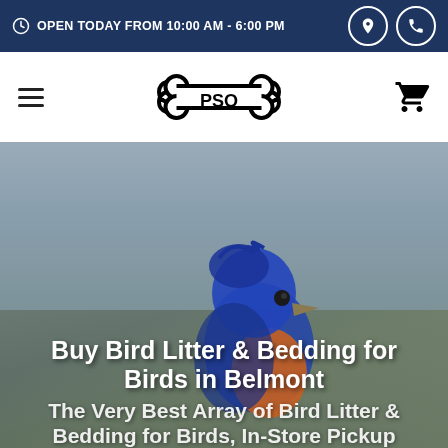OPEN TODAY FROM 10:00 AM - 6:00 PM
[Figure (logo): PSO pet store logo in the shape of a dog bone]
[Figure (photo): Close-up photo of a bluebird with blue and orange plumage against a gray background]
Buy Bird Litter & Bedding for Birds in Belmont
The Very Best Array of Bird Litter & Bedding for Birds, In-Store Pickup